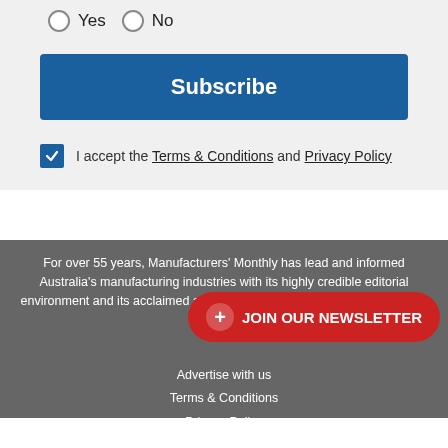Yes  No (radio buttons)
Subscribe (button)
I accept the Terms & Conditions and Privacy Policy
For over 55 years, Manufacturers' Monthly has lead and informed Australia's manufacturing industries with its highly credible editorial environment and its acclaimed analysis of issues affecting manufacturing.
+ JOIN OUR NEWSLETTER
Advertise with us
Terms & Conditions
Privacy Policy
News archive
Topic index
Manufacturers' Monthly